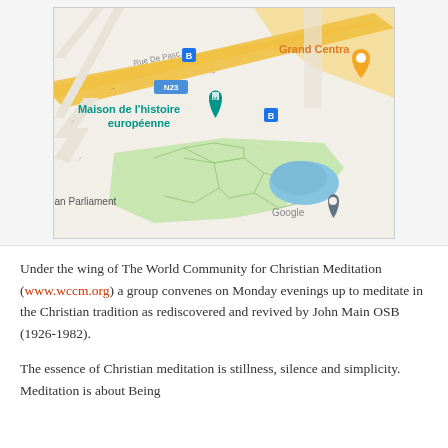[Figure (map): Google Maps screenshot showing Maison de l'histoire européenne near the European Parliament area in Brussels. Shows Rue De Pascal, road N23, bus stop icons, Grand Centra label, teal location pin for Maison de l'histoire européenne, orange pin, blue lake/pond area with green park, and Google logo with gray location marker.]
Under the wing of The World Community for Christian Meditation (www.wccm.org) a group convenes on Monday evenings up to meditate in the Christian tradition as rediscovered and revived by John Main OSB (1926-1982).
The essence of Christian meditation is stillness, silence and simplicity. Meditation is about Being